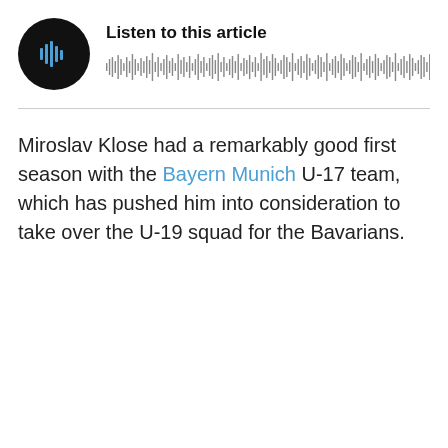[Figure (other): Audio player widget with black circular play button showing a waveform/play icon, title 'Listen to this article', and a waveform audio visualization bar]
Miroslav Klose had a remarkably good first season with the Bayern Munich U-17 team, which has pushed him into consideration to take over the U-19 squad for the Bavarians.